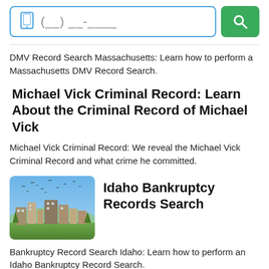[Figure (screenshot): Phone number search input box with blue border and a green search button with magnifying glass icon]
DMV Record Search Massachusetts: Learn how to perform a Massachusetts DMV Record Search.
Michael Vick Criminal Record: Learn About the Criminal Record of Michael Vick
Michael Vick Criminal Record: We reveal the Michael Vick Criminal Record and what crime he committed.
[Figure (photo): Cityscape photo of Boise, Idaho with birds flying over buildings against a blue sky]
Idaho Bankruptcy Records Search
Bankruptcy Record Search Idaho: Learn how to perform an Idaho Bankruptcy Record Search.